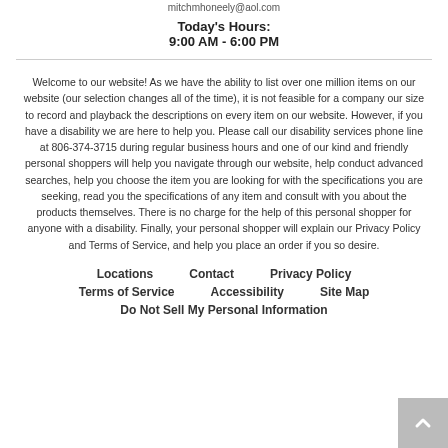mitchmhoneely@aol.com
Today's Hours:
9:00 AM - 6:00 PM
Welcome to our website! As we have the ability to list over one million items on our website (our selection changes all of the time), it is not feasible for a company our size to record and playback the descriptions on every item on our website. However, if you have a disability we are here to help you. Please call our disability services phone line at 806-374-3715 during regular business hours and one of our kind and friendly personal shoppers will help you navigate through our website, help conduct advanced searches, help you choose the item you are looking for with the specifications you are seeking, read you the specifications of any item and consult with you about the products themselves. There is no charge for the help of this personal shopper for anyone with a disability. Finally, your personal shopper will explain our Privacy Policy and Terms of Service, and help you place an order if you so desire.
Locations
Contact
Privacy Policy
Terms of Service
Accessibility
Site Map
Do Not Sell My Personal Information